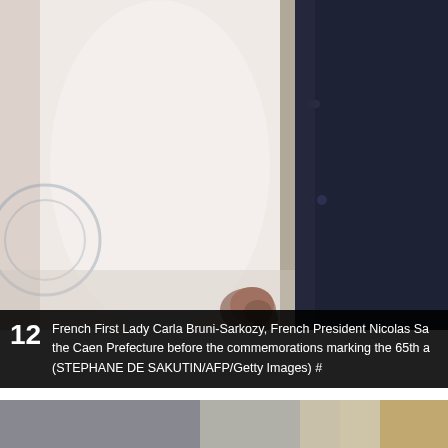[Figure (photo): Cropped photo showing a woman in a white dress and a man in a dark navy suit, holding hands, standing outdoors. Only torsos and hands visible.]
12  French First Lady Carla Bruni-Sarkozy, French President Nicolas Sa... the Caen Prefecture before the commemorations marking the 65th a... (STEPHANE DE SAKUTIN/AFP/Getty Images) #
[Figure (photo): Partially visible photo at bottom of page showing a blurred grey and beige/stone background, appears to be an outdoor scene.]